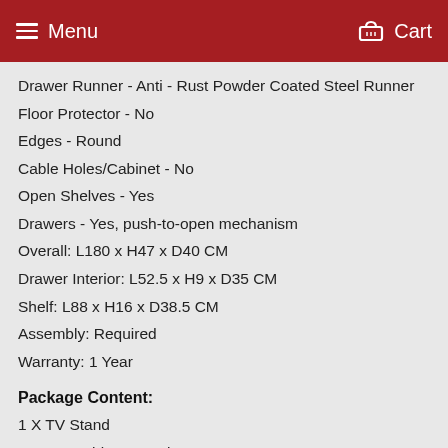Menu  Cart
Drawer Runner - Anti - Rust Powder Coated Steel Runner
Floor Protector - No
Edges - Round
Cable Holes/Cabinet - No
Open Shelves - Yes
Drawers - Yes, push-to-open mechanism
Overall: L180 x H47 x D40 CM
Drawer Interior: L52.5 x H9 x D35 CM
Shelf: L88 x H16 x D38.5 CM
Assembly: Required
Warranty: 1 Year
Package Content:
1 X TV Stand
1 X Assembly Instruction